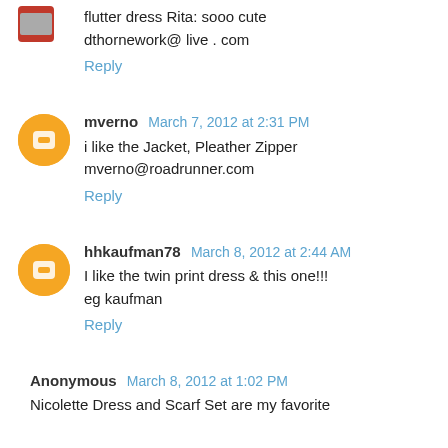flutter dress Rita: sooo cute
dthornework@ live . com
Reply
mverno  March 7, 2012 at 2:31 PM
i like the Jacket, Pleather Zipper
mverno@roadrunner.com
Reply
hhkaufman78  March 8, 2012 at 2:44 AM
I like the twin print dress & this one!!!
eg kaufman
Reply
Anonymous  March 8, 2012 at 1:02 PM
Nicolette Dress and Scarf Set are my favorite